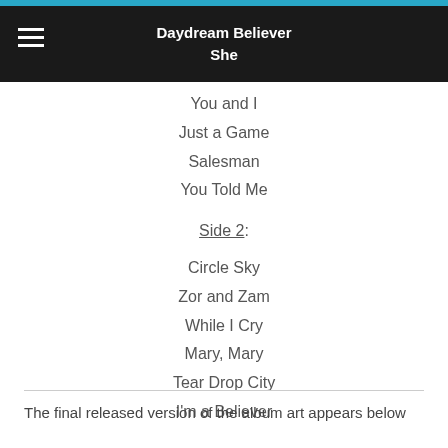Daydream Believer
She
You and I
Just a Game
Salesman
You Told Me
Side 2:
Circle Sky
Zor and Zam
While I Cry
Mary, Mary
Tear Drop City
I'm a Believer
The final released version of the album art appears below